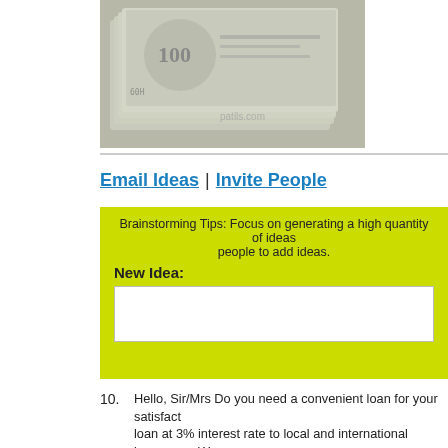[Figure (photo): Stack of US dollar bills, money image with watermark]
Email Ideas | Invite People
Brainstorming Tips: Focus on generating a high quantity of ideas... people to add ideas.
New Idea:
10. Hello, Sir/Mrs Do you need a convenient loan for your satisfaction loan at 3% interest rate to local and international borrowers. We trustworthy, reliable, efficient, fast and dynamic and work together term loan with a maximum term of 2 to 50 years interested can us via Email;; muthootfinanceltdm@gmail.com. or whatsapp us +917873223725
muthootfinanceltdm
9. Narayana Health Hospital is in need of kidney donation,amount number:+918095967610.Email: narayanahealthy@gmail.com
narayanahealthy